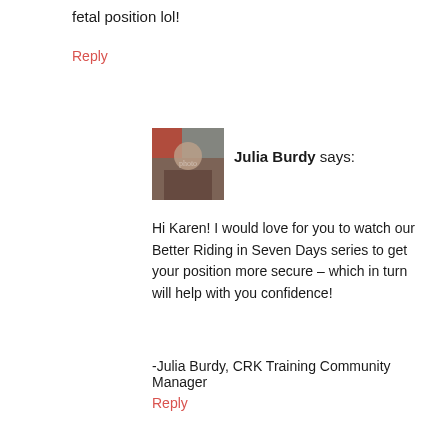fetal position lol!
Reply
[Figure (photo): Avatar photo of Julia Burdy showing a person outdoors]
Julia Burdy says:
Hi Karen! I would love for you to watch our Better Riding in Seven Days series to get your position more secure – which in turn will help with you confidence!
-Julia Burdy, CRK Training Community Manager
Reply
[Figure (illustration): Generic user avatar icon for Joan]
Joan says:
IMHO. Horses react very fast. The moment you think maybe I should get off….GET OFF! You can safely calm your horse from the ground. Then get back on and enjoy